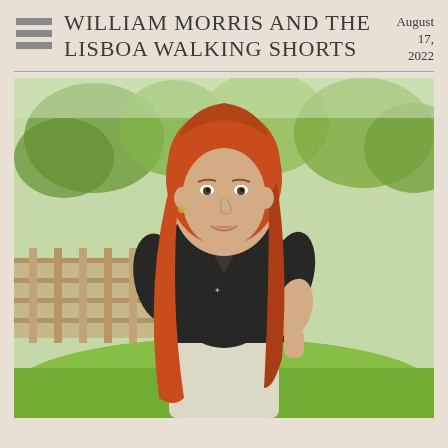WILLIAM MORRIS AND THE LISBOA WALKING SHORTS
August 17, 2022
[Figure (photo): A woman with long red hair wearing a black fitted v-neck t-shirt and light-colored shorts with a woven leather belt, standing outdoors in front of trees and a wooden fence with green grass in the background.]